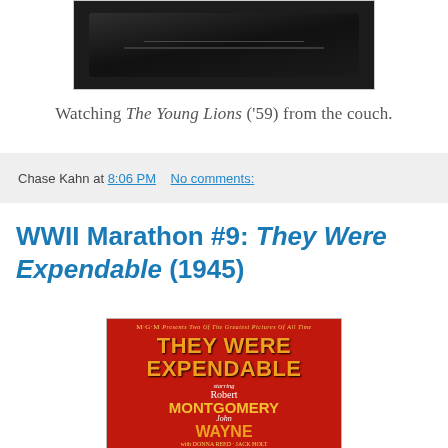[Figure (photo): A dark TV or monitor screen photographed from the couch showing a dim scene from The Young Lions (1959)]
Watching The Young Lions ('59) from the couch.
Chase Kahn at 8:06 PM   No comments:
WWII Marathon #9: They Were Expendable (1945)
[Figure (photo): Movie poster for They Were Expendable (1945) — MGM film with red background, orange title text, starring Robert Montgomery and John Wayne with Donna Reed]